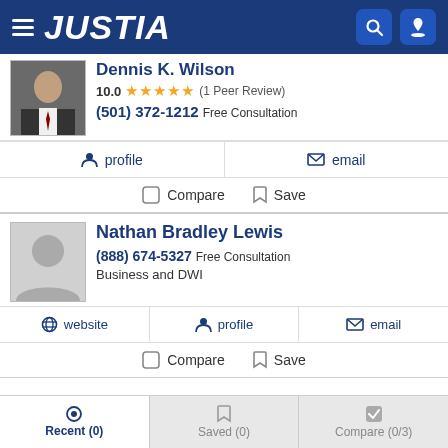JUSTIA
Dennis K. Wilson
10.0 ★★★★★ (1 Peer Review)
(501) 372-1212 Free Consultation
profile  |  email
Compare  |  Save
Nathan Bradley Lewis
(888) 674-5327 Free Consultation
Business and DWI
website  |  profile  |  email
Compare  |  Save
Recent (0)  Saved (0)  Compare (0/3)